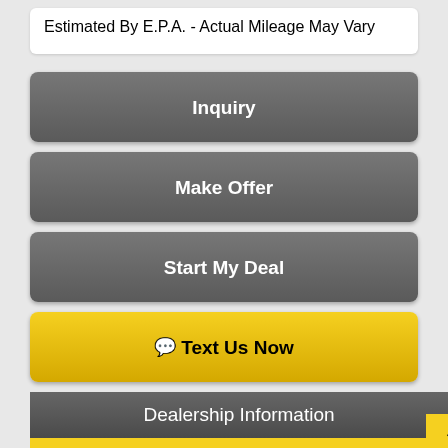Estimated By E.P.A. - Actual Mileage May Vary
Inquiry
Make Offer
Start My Deal
Text Us Now
Dealership Information
Text Us